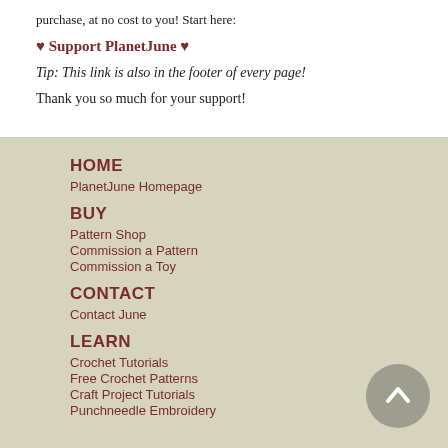purchase, at no cost to you! Start here:
♥ Support PlanetJune ♥
Tip: This link is also in the footer of every page!
Thank you so much for your support!
HOME
PlanetJune Homepage
BUY
Pattern Shop
Commission a Pattern
Commission a Toy
CONTACT
Contact June
LEARN
Crochet Tutorials
Free Crochet Patterns
Craft Project Tutorials
Punchneedle Embroidery